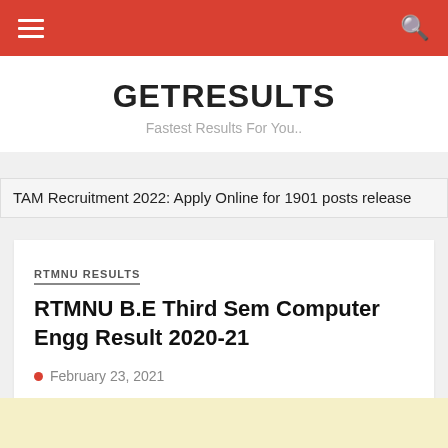GETRESULTS — navigation bar
GETRESULTS
Fastest Results For You..
TAM Recruitment 2022: Apply Online for 1901 posts release
RTMNU RESULTS
RTMNU B.E Third Sem Computer Engg Result 2020-21
February 23, 2021